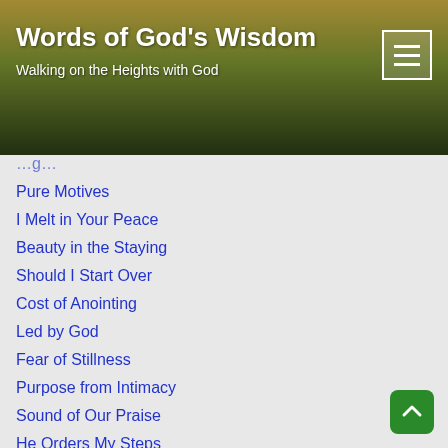Words of God's Wisdom — Walking on the Heights with God
Pure Motives
I Melt in Your Peace
Beauty in the Staying
Should I Start Over
Cost of Anointing
Led by God
Fear of Stillness
Purpose from Intimacy
Sound of Our Praise
He Orders My Steps
Longing & Blessing
In Face of Rejection